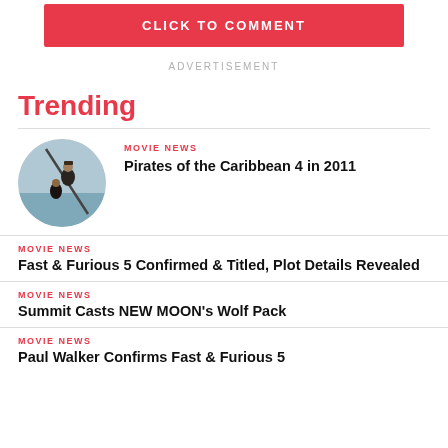[Figure (other): Red button with white text CLICK TO COMMENT]
ADVERTISEMENT
Trending
[Figure (photo): Circular thumbnail photo of Pirates of the Caribbean scene with a person on a ship mast]
MOVIE NEWS
Pirates of the Caribbean 4 in 2011
MOVIE NEWS
Fast & Furious 5 Confirmed & Titled, Plot Details Revealed
MOVIE NEWS
Summit Casts NEW MOON's Wolf Pack
MOVIE NEWS
Paul Walker Confirms Fast & Furious 5